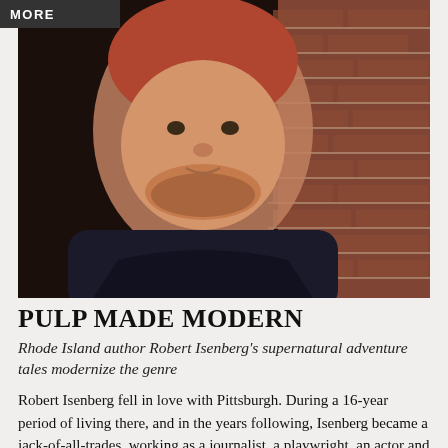MORE
[Figure (photo): Portrait of Robert Isenberg, a man with reddish-brown hair and a beard, smiling slightly, standing against a brick wall. The photo is in color with a dark, moody tone.]
PULP MADE MODERN
Rhode Island author Robert Isenberg's supernatural adventure tales modernize the genre
Robert Isenberg fell in love with Pittsburgh. During a 16-year period of living there, and in the years following, Isenberg became a jack-of-all-trades, working as a journalist, a playwright, an actor and a videographer. His dream had always been, he said, to write the next Great